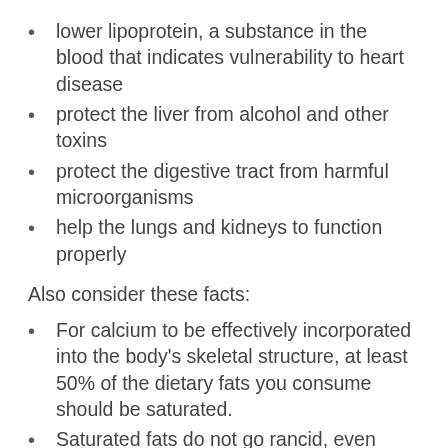lower lipoprotein, a substance in the blood that indicates vulnerability to heart disease
protect the liver from alcohol and other toxins
protect the digestive tract from harmful microorganisms
help the lungs and kidneys to function properly
Also consider these facts:
For calcium to be effectively incorporated into the body's skeletal structure, at least 50% of the dietary fats you consume should be saturated.
Saturated fats do not go rancid, even when heated, and so are an ideal choice for all-purpose cooking.
Special fats found in coconut oils – medium-chain saturated fatty acids –